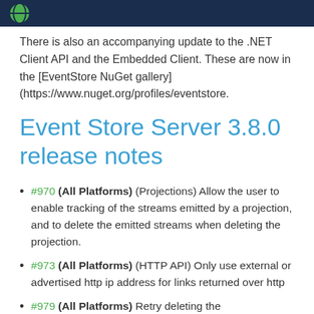There is also an accompanying update to the .NET Client API and the Embedded Client. These are now in the [EventStore NuGet gallery] (https://www.nuget.org/profiles/eventstore.
Event Store Server 3.8.0 release notes
#970 (All Platforms) (Projections) Allow the user to enable tracking of the streams emitted by a projection, and to delete the emitted streams when deleting the projection.
#973 (All Platforms) (HTTP API) Only use external or advertised http ip address for links returned over http
#979 (All Platforms) Retry deleting the